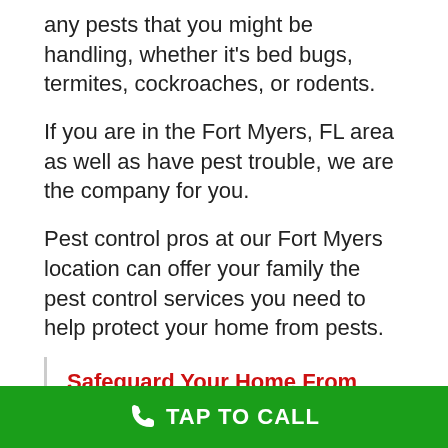any pests that you might be handling, whether it's bed bugs, termites, cockroaches, or rodents.
If you are in the Fort Myers, FL area as well as have pest trouble, we are the company for you.
Pest control pros at our Fort Myers location can offer your family the pest control services you need to help protect your home from pests.
Safeguard Your Home From Termites, Ticks, Roaches & Other Pests
Previous ... Next
TAP TO CALL